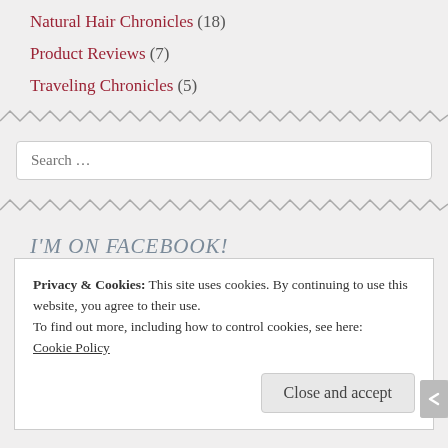Natural Hair Chronicles (18)
Product Reviews (7)
Traveling Chronicles (5)
Search ...
I'M ON FACEBOOK!
Privacy & Cookies: This site uses cookies. By continuing to use this website, you agree to their use.
To find out more, including how to control cookies, see here:
Cookie Policy
Close and accept